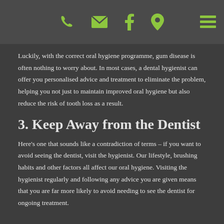[navigation icons: phone, email, facebook, location, menu]
Luckily, with the correct oral hygiene programme, gum disease is often nothing to worry about. In most cases, a dental hygienist can offer you personalised advice and treatment to eliminate the problem, helping you not just to maintain improved oral hygiene but also reduce the risk of tooth loss as a result.
3. Keep Away from the Dentist
Here's one that sounds like a contradiction of terms – if you want to avoid seeing the dentist, visit the hygienist. Our lifestyle, brushing habits and other factors all affect our oral hygiene. Visiting the hygienist regularly and following any advice you are given means that you are far more likely to avoid needing to see the dentist for ongoing treatment.